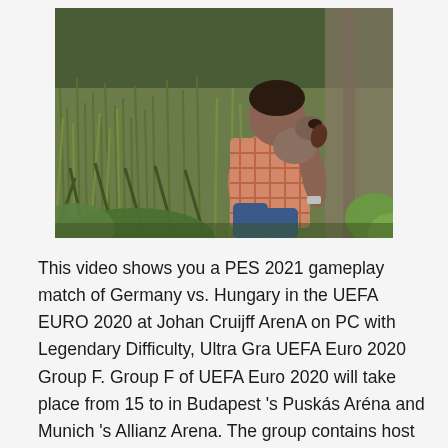[Figure (photo): A man in a plaid shirt sitting in tall green grass with a dog (appears to be a pointer or similar breed), photographed from behind. The setting is an outdoor field.]
This video shows you a PES 2021 gameplay match of Germany vs. Hungary in the UEFA EURO 2020 at Johan Cruijff ArenA on PC with Legendary Difficulty, Ultra Gra UEFA Euro 2020 Group F. Group F of UEFA Euro 2020 will take place from 15 to in Budapest 's Puskás Aréna and Munich 's Allianz Arena. The group contains host